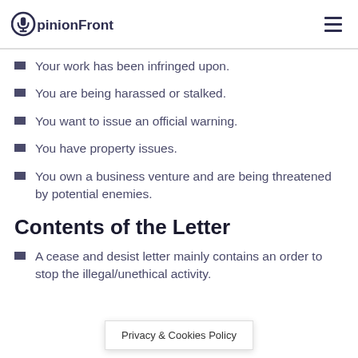OpinionFront
Your work has been infringed upon.
You are being harassed or stalked.
You want to issue an official warning.
You have property issues.
You own a business venture and are being threatened by potential enemies.
Contents of the Letter
A cease and desist letter mainly contains an order to stop the illegal/unethical activity.
Privacy & Cookies Policy